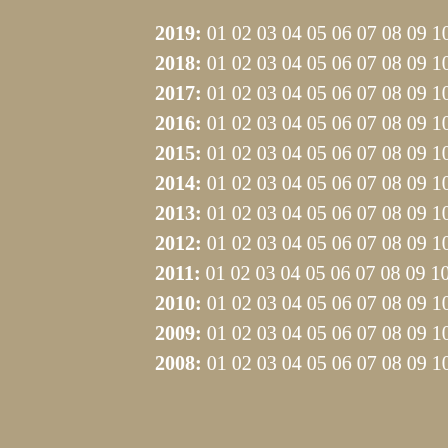2019: 01 02 03 04 05 06 07 08 09 10 11 12
2018: 01 02 03 04 05 06 07 08 09 10 11 12
2017: 01 02 03 04 05 06 07 08 09 10 11 12
2016: 01 02 03 04 05 06 07 08 09 10 11 12
2015: 01 02 03 04 05 06 07 08 09 10 11 12
2014: 01 02 03 04 05 06 07 08 09 10 11 12
2013: 01 02 03 04 05 06 07 08 09 10 11 12
2012: 01 02 03 04 05 06 07 08 09 10 11 12
2011: 01 02 03 04 05 06 07 08 09 10 11 12
2010: 01 02 03 04 05 06 07 08 09 10 11 12
2009: 01 02 03 04 05 06 07 08 09 10 11 12
2008: 01 02 03 04 05 06 07 08 09 10 11 12